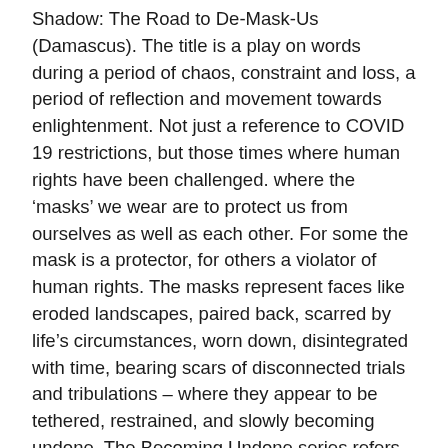Shadow: The Road to De-Mask-Us (Damascus). The title is a play on words during a period of chaos, constraint and loss, a period of reflection and movement towards enlightenment. Not just a reference to COVID 19 restrictions, but those times where human rights have been challenged. where the 'masks' we wear are to protect us from ourselves as well as each other. For some the mask is a protector, for others a violator of human rights. The masks represent faces like eroded landscapes, paired back, scarred by life's circumstances, worn down, disintegrated with time, bearing scars of disconnected trials and tribulations – where they appear to be tethered, restrained, and slowly becoming undone. The Becoming Undone series refers to an artist bearing witness during a time of restraint, reflection and introspection, a period of 'in to me see' (intimacy).
Like lockdown, we hide within our own environs, some imprisoned in their own cells, behind masks of our own making, entrapped. Some are paralysed by fear and